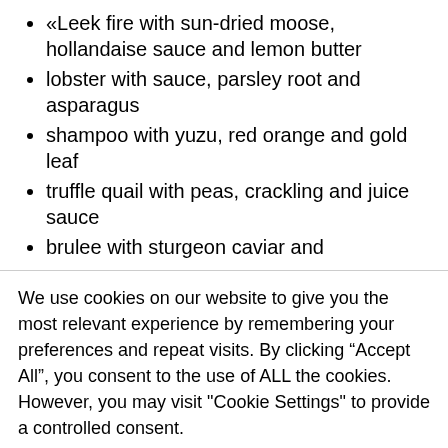«Leek fire with sun-dried moose, hollandaise sauce and lemon butter
lobster with sauce, parsley root and asparagus
shampoo with yuzu, red orange and gold leaf
truffle quail with peas, crackling and juice sauce
brulee with sturgeon caviar and ...
We use cookies on our website to give you the most relevant experience by remembering your preferences and repeat visits. By clicking “Accept All”, you consent to the use of ALL the cookies. However, you may visit "Cookie Settings" to provide a controlled consent.